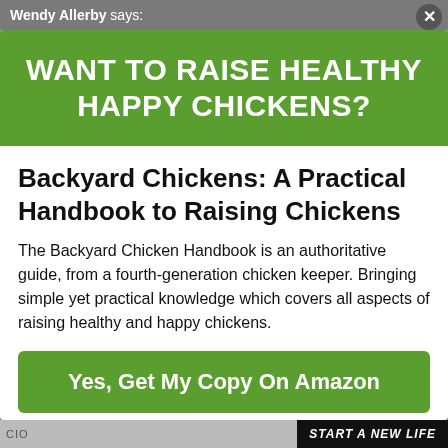Wendy Allerby says:
WANT TO RAISE HEALTHY HAPPY CHICKENS?
Backyard Chickens: A Practical Handbook to Raising Chickens
The Backyard Chicken Handbook is an authoritative guide, from a fourth-generation chicken keeper. Bringing simple yet practical knowledge which covers all aspects of raising healthy and happy chickens.
Yes, Get My Copy On Amazon
No Thank You